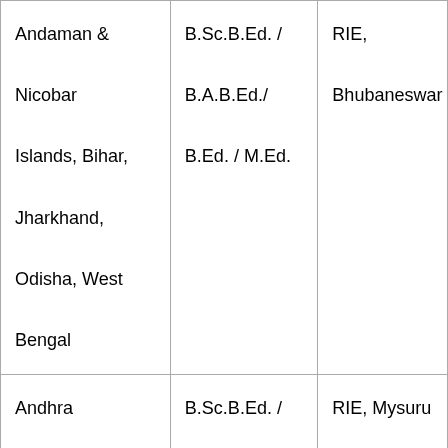| Andaman & Nicobar Islands, Bihar, Jharkhand, Odisha, West Bengal | B.Sc.B.Ed. / B.A.B.Ed./ B.Ed. / M.Ed. | RIE, Bhubaneswar |
| Andhra Pradesh, Karnataka, Kerala, Lakshadweep, | B.Sc.B.Ed. / B.A.B.Ed./ M.Sc.B.Ed. / B.Ed. / M. | RIE, Mysuru |